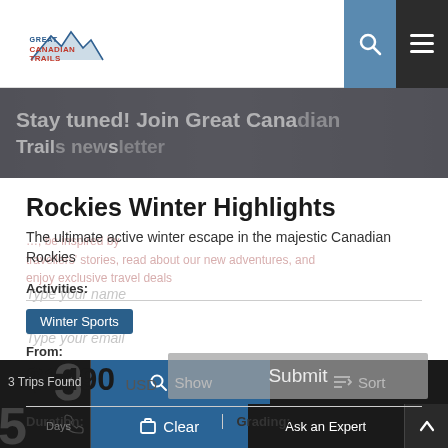Great Canadian Trails
[Figure (screenshot): Hero banner with overlaid semi-transparent text: Stay tuned! Join Great Canadian Trails news]
Rockies Winter Highlights
The ultimate active winter escape in the majestic Canadian Rockies
Activities:
Winter Sports
From:
$1490 USD
Duration:   Grading:
3 Trips Found   Show   Sort   Clear   Ask an Expert